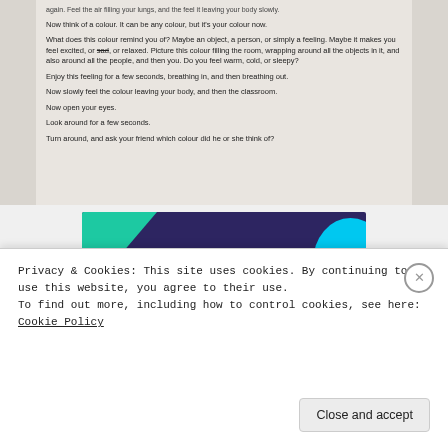[Figure (screenshot): Screenshot of a document page with mindfulness/relaxation exercise text on a light gray background]
again. Feel the air filling your lungs, and the feel it leaving your body slowly.
Now think of a colour. It can be any colour, but it's your colour now.
What does this colour remind you of? Maybe an object, a person, or simply a feeling. Maybe it makes you feel excited, or sad, or relaxed. Picture this colour filling the room, wrapping around all the objects in it, and also around all the people, and then you. Do you feel warm, cold, or sleepy?
Enjoy this feeling for a few seconds, breathing in, and then breathing out.
Now slowly feel the colour leaving your body, and then the classroom.
Now open your eyes.
Look around for a few seconds.
Turn around, and ask your friend which colour did he or she think of?
[Figure (screenshot): Advertisement banner: dark blue/purple background with teal triangle and cyan arc, white bold text reading 'Turn your hobby into a business in 8 steps']
Privacy & Cookies: This site uses cookies. By continuing to use this website, you agree to their use.
To find out more, including how to control cookies, see here: Cookie Policy
Close and accept